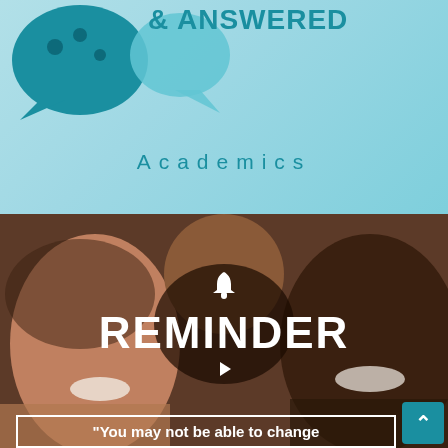[Figure (illustration): Top section with light teal/blue background, speech bubble icons on the left side (teal colored), text '& ANSWERED' partially visible in teal uppercase letters, and the word 'Academics' centered below in teal with wide letter spacing.]
Academics
[Figure (photo): Bottom section showing a family photo of three smiling people (a woman on the left, a child in the back center, and a man on the right), overlaid with a white bell icon, the word 'REMINDER' in large bold white uppercase text, a play button icon, and a quote box with text 'You may not be able to change'. A teal scroll-to-top button with an upward arrow is in the bottom-right corner.]
"You may not be able to change